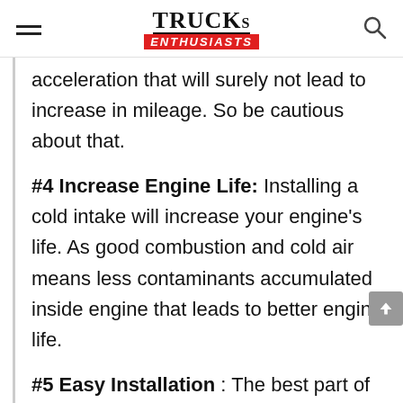TRUCKs ENTHUSIASTS
acceleration that will surely not lead to increase in mileage. So be cautious about that.
#4 Increase Engine Life: Installing a cold intake will increase your engine's life. As good combustion and cold air means less contaminants accumulated inside engine that leads to better engine life.
#5 Easy Installation : The best part of Performance Air Intake is that they're very easy to install with simple tools and installation instructions. If you're totally new then mechanic help is recommended otherwise you